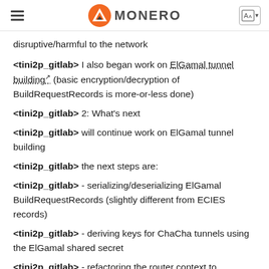MONERO
disruptive/harmful to the network
<tini2p_gitlab> I also began work on ElGamal tunnel building (basic encryption/decryption of BuildRequestRecords is more-or-less done)
<tini2p_gitlab> 2: What's next
<tini2p_gitlab> will continue work on ElGamal tunnel building
<tini2p_gitlab> the next steps are:
<tini2p_gitlab> - serializing/deserializing ElGamal BuildRequestRecords (slightly different from ECIES records)
<tini2p_gitlab> - deriving keys for ChaCha tunnels using the ElGamal shared secret
<tini2p_gitlab> - refactoring the router context to